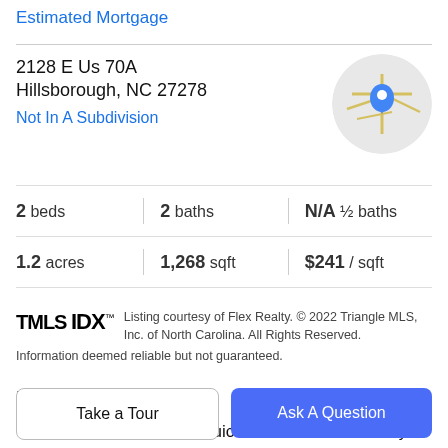Estimated Mortgage
2128 E Us 70A
Hillsborough, NC 27278
Not In A Subdivision
[Figure (map): Circular map thumbnail showing street map with blue location pin marker]
| Beds | Baths | ½ Baths |
| --- | --- | --- |
| 2 beds | 2 baths | N/A ½ baths |
| 1.2 acres | 1,268 sqft | $241 / sqft |
TMLS IDX™ Listing courtesy of Flex Realty. © 2022 Triangle MLS, Inc. of North Carolina. All Rights Reserved. Information deemed reliable but not guaranteed.
Property Description
Conveniently located for quick commute on US Hwy 70A, this adorable home is ready to call your own! Many
Take a Tour
Ask A Question